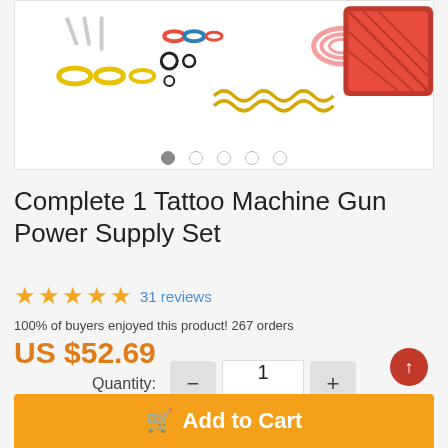[Figure (photo): Product image carousel showing tattoo machine gun power supply kit components including O-rings, springs, and red power supply unit. Carousel dot indicators below show 5 dots with first dot active.]
Complete 1 Tattoo Machine Gun Power Supply Set
31 reviews
100% of buyers enjoyed this product! 267 orders
US $52.69
Quantity: 1
Add to Cart